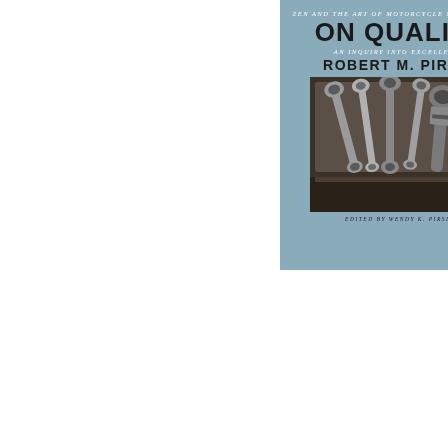[Figure (illustration): Book cover for 'On Quality: An Inquiry into Excellence' from Zen and the Art of Motorcycle Maintenance by Robert M. Pirsig, edited by Wendy K. Pirsig. Steel blue/grey cover with wrenches image in center.]
Extended Sample
On Quality
by Robert M. Pirsig
[Figure (illustration): Book cover for a Recorded Books audiobook titled 'The Internet Is Not What You Think It Is' with a red header band and gold/yellow decorative background.]